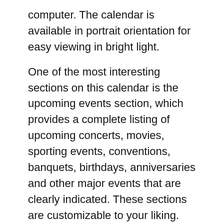computer. The calendar is available in portrait orientation for easy viewing in bright light.
One of the most interesting sections on this calendar is the upcoming events section, which provides a complete listing of upcoming concerts, movies, sporting events, conventions, banquets, birthdays, anniversaries and other major events that are clearly indicated. These sections are customizable to your liking. There are sections that highlight sales, new construction, changes in state laws, pending legislation, and school closings. Depending on how many personalized calendars you wish to make, the entire calendar can be downloaded or you can choose just the key sections to print.